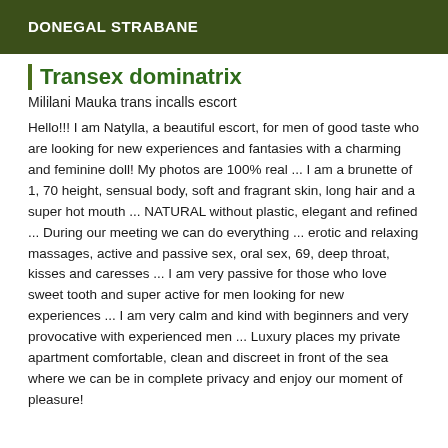DONEGAL STRABANE
Transex dominatrix
Mililani Mauka trans incalls escort
Hello!!! I am Natylla, a beautiful escort, for men of good taste who are looking for new experiences and fantasies with a charming and feminine doll! My photos are 100% real ... I am a brunette of 1, 70 height, sensual body, soft and fragrant skin, long hair and a super hot mouth ... NATURAL without plastic, elegant and refined ... During our meeting we can do everything ... erotic and relaxing massages, active and passive sex, oral sex, 69, deep throat, kisses and caresses ... I am very passive for those who love sweet tooth and super active for men looking for new experiences ... I am very calm and kind with beginners and very provocative with experienced men ... Luxury places my private apartment comfortable, clean and discreet in front of the sea where we can be in complete privacy and enjoy our moment of pleasure!